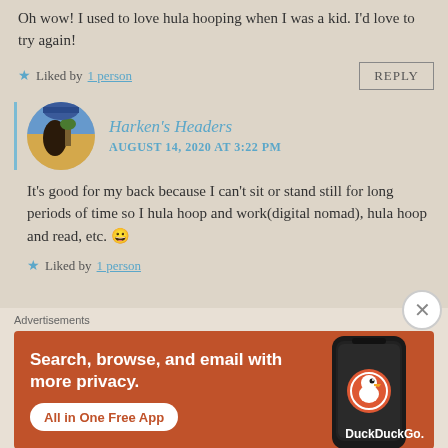Oh wow! I used to love hula hooping when I was a kid. I'd love to try again!
★ Liked by 1 person
REPLY
Harken's Headers
AUGUST 14, 2020 AT 3:22 PM
It's good for my back because I can't sit or stand still for long periods of time so I hula hoop and work(digital nomad), hula hoop and read, etc. 😀
★ Liked by 1 person
Advertisements
[Figure (screenshot): DuckDuckGo advertisement banner: orange background with text 'Search, browse, and email with more privacy. All in One Free App' and a phone image with DuckDuckGo logo]